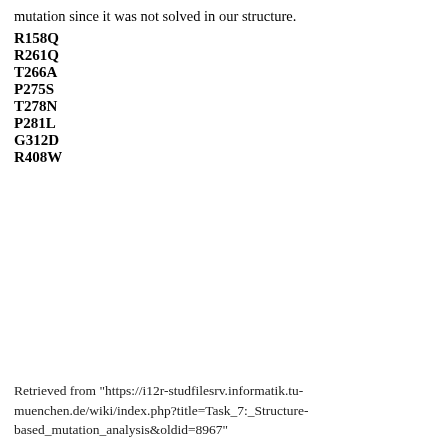mutation since it was not solved in our structure.
R158Q
R261Q
T266A
P275S
T278N
P281L
G312D
R408W
Retrieved from "https://i12r-studfilesrv.informatik.tu-muenchen.de/wiki/index.php?title=Task_7:_Structure-based_mutation_analysis&oldid=8967"